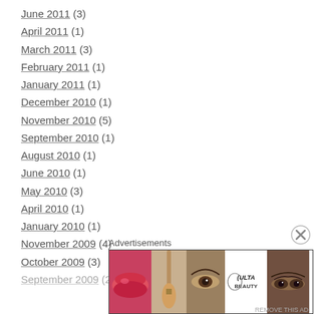June 2011 (3)
April 2011 (1)
March 2011 (3)
February 2011 (1)
January 2011 (1)
December 2010 (1)
November 2010 (5)
September 2010 (1)
August 2010 (1)
June 2010 (1)
May 2010 (3)
April 2010 (1)
January 2010 (1)
November 2009 (4)
October 2009 (3)
September 2009 (2)
Advertisements
[Figure (photo): ULTA beauty advertisement banner with makeup imagery including lips, brush, eye, ULTA logo, and SHOP NOW text]